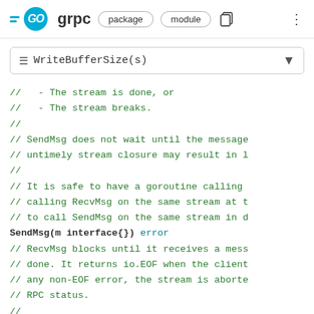GO grpc  package  module
≡ WriteBufferSize(s)
//   - The stream is done, or
//   - The stream breaks.
//
// SendMsg does not wait until the message
// untimely stream closure may result in l
//
// It is safe to have a goroutine calling
// calling RecvMsg on the same stream at t
// to call SendMsg on the same stream in d
SendMsg(m interface{}) error
// RecvMsg blocks until it receives a mess
// done. It returns io.EOF when the client
// any non-EOF error, the stream is aborte
// RPC status.
//
// It is safe to have a goroutine calling